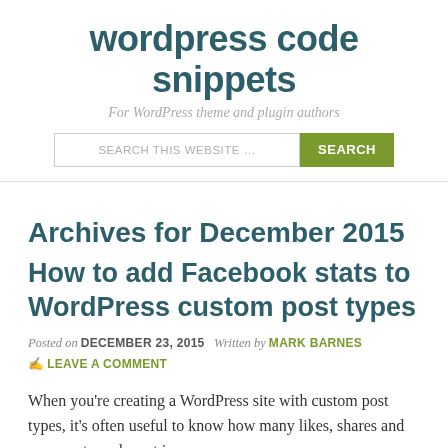wordpress code snippets
For WordPress theme and plugin authors
Archives for December 2015
How to add Facebook stats to WordPress custom post types
Posted on DECEMBER 23, 2015   Written by MARK BARNES
☞ LEAVE A COMMENT
When you're creating a WordPress site with custom post types, it's often useful to know how many likes, shares and comments each post is